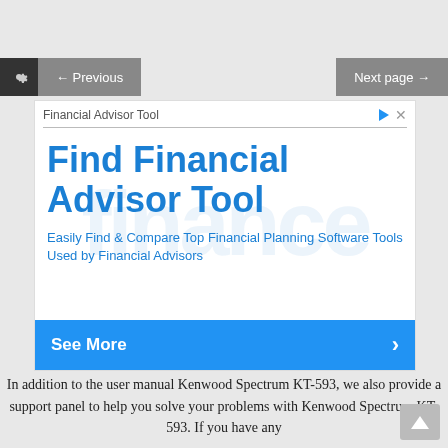[Figure (screenshot): Navigation bar with gear/settings icon on left, Previous button, Next page button on right]
[Figure (screenshot): Advertisement banner for Financial Advisor Tool with blue headline text 'Find Financial Advisor Tool', subtitle 'Easily Find & Compare Top Financial Planning Software Tools Used by Financial Advisors', and a blue 'See More' call-to-action button]
In addition to the user manual Kenwood Spectrum KT-593, we also provide a support panel to help you solve your problems with Kenwood Spectrum KT-593. If you have any